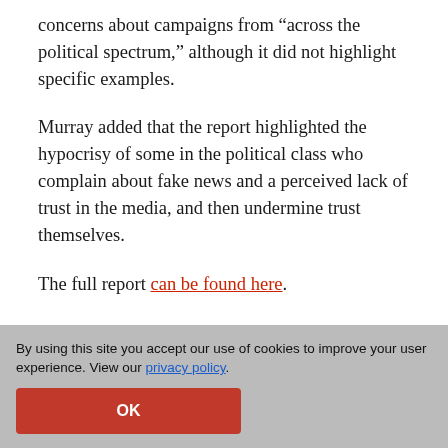concerns about campaigns from “across the political spectrum,” although it did not highlight specific examples.
Murray added that the report highlighted the hypocrisy of some in the political class who complain about fake news and a perceived lack of trust in the media, and then undermine trust themselves.
The full report can be found here.
[Figure (other): Social media sharing icons: Twitter (blue), LinkedIn (blue), Facebook (dark blue), Email (grey)]
By using this site you accept our use of cookies to improve your user experience. View our privacy policy.